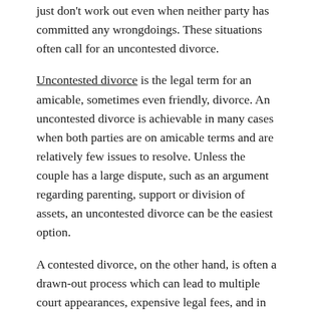just don't work out even when neither party has committed any wrongdoings. These situations often call for an uncontested divorce.
Uncontested divorce is the legal term for an amicable, sometimes even friendly, divorce. An uncontested divorce is achievable in many cases when both parties are on amicable terms and are relatively few issues to resolve. Unless the couple has a large dispute, such as an argument regarding parenting, support or division of assets, an uncontested divorce can be the easiest option.
A contested divorce, on the other hand, is often a drawn-out process which can lead to multiple court appearances, expensive legal fees, and in many cases, emotional distress.
How Does Uncontested Divorce Work?